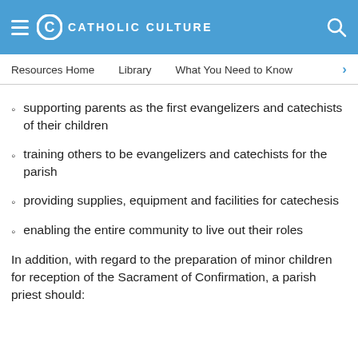CATHOLIC CULTURE
Resources Home   Library   What You Need to Know
supporting parents as the first evangelizers and catechists of their children
training others to be evangelizers and catechists for the parish
providing supplies, equipment and facilities for catechesis
enabling the entire community to live out their roles
In addition, with regard to the preparation of minor children for reception of the Sacrament of Confirmation, a parish priest should: